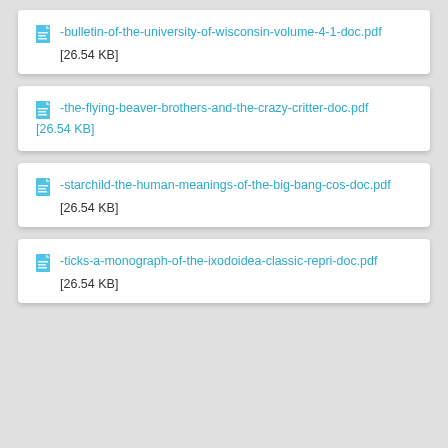-bulletin-of-the-university-of-wisconsin-volume-4-1-doc.pdf [26.54 KB]
-the-flying-beaver-brothers-and-the-crazy-critter-doc.pdf [26.54 KB]
-starchild-the-human-meanings-of-the-big-bang-cos-doc.pdf [26.54 KB]
-ticks-a-monograph-of-the-ixodoidea-classic-repri-doc.pdf [26.54 KB]